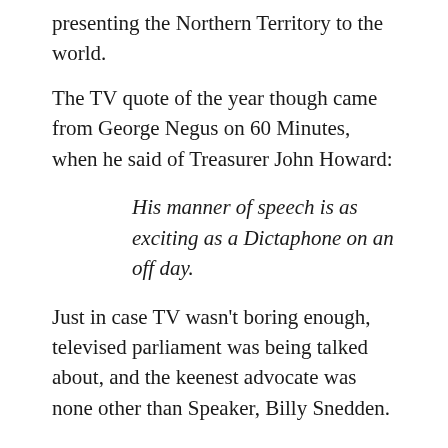and a TV adaptation of LTD. Like that, presenting the Northern Territory to the world.
The TV quote of the year though came from George Negus on 60 Minutes, when he said of Treasurer John Howard:
His manner of speech is as exciting as a Dictaphone on an off day.
Just in case TV wasn't boring enough, televised parliament was being talked about, and the keenest advocate was none other than Speaker, Billy Snedden.
Meanwhile on the big screen we viewed Australian movies like Gallipoli, Breaker Morant and Puberty Blues. From America there was Indiana Jones and the Raiders of the Lost Ark , The Shining and